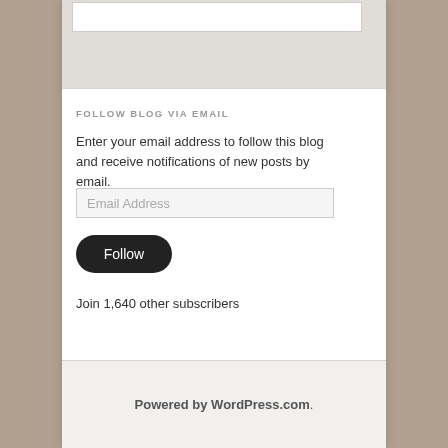FOLLOW BLOG VIA EMAIL
Enter your email address to follow this blog and receive notifications of new posts by email.
Email Address
Follow
Join 1,640 other subscribers
Powered by WordPress.com.